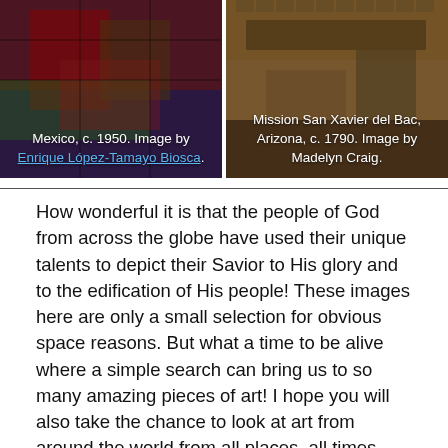[Figure (photo): Two side-by-side religious artwork photographs. Left: A stained glass or painted scene from Mexico, c. 1950, image by Enrique López-Tamayo Biosca. Right: Mission San Xavier del Bac, Arizona, c. 1790, image by Madelyn Craig.]
Mexico, c. 1950. Image by Enrique López-Tamayo Biosca.
Mission San Xavier del Bac, Arizona, c. 1790. Image by Madelyn Craig.
How wonderful it is that the people of God from across the globe have used their unique talents to depict their Savior to His glory and to the edification of His people! These images here are only a small selection for obvious space reasons. But what a time to be alive where a simple search can bring us to so many amazing pieces of art! I hope you will also take the chance to look at art from around the world from all places, all times, and all people. Finally, it will be these people, and the message sent to these people, that will be discussed in the following and final installment of this series.